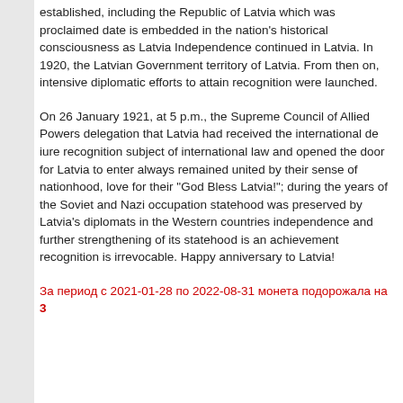established, including the Republic of Latvia which was proclaimed date is embedded in the nation's historical consciousness as Latvia Independence continued in Latvia. In 1920, the Latvian Government territory of Latvia. From then on, intensive diplomatic efforts to attain recognition were launched.
On 26 January 1921, at 5 p.m., the Supreme Council of Allied Powers delegation that Latvia had received the international de iure recognition subject of international law and opened the door for Latvia to enter always remained united by their sense of nationhood, love for their "God Bless Latvia!"; during the years of the Soviet and Nazi occupation statehood was preserved by Latvia's diplomats in the Western countries independence and further strengthening of its statehood is an achievement recognition is irrevocable. Happy anniversary to Latvia!
За период с 2021-01-28 по 2022-08-31 монета подорожала на 3